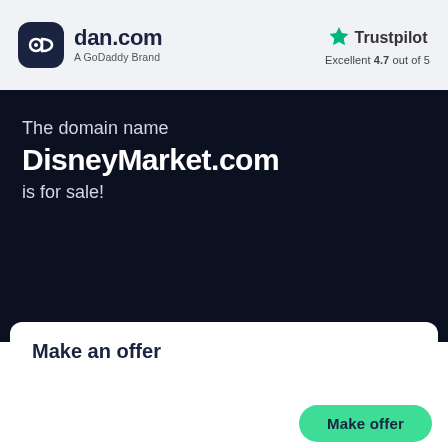[Figure (logo): dan.com logo with dark rounded square icon and text 'dan.com' with subtitle 'A GoDaddy Brand']
[Figure (logo): Trustpilot logo with green star and text 'Trustpilot', rating 'Excellent 4.7 out of 5']
The domain name
DisneyMarket.com
is for sale!
Make an offer
Make offer